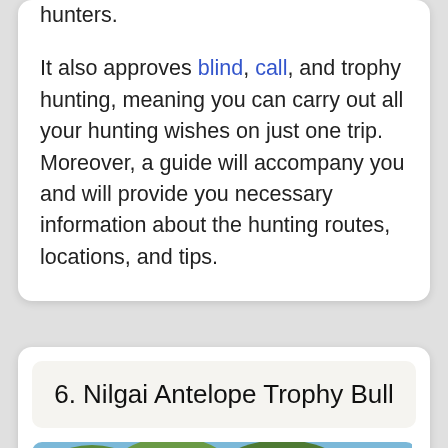hunters.

It also approves blind, call, and trophy hunting, meaning you can carry out all your hunting wishes on just one trip. Moreover, a guide will accompany you and will provide you necessary information about the hunting routes, locations, and tips.
6. Nilgai Antelope Trophy Bull
[Figure (photo): A man wearing a red headband posing with a harvested nilgai antelope, outdoors with trees and blue sky in the background.]